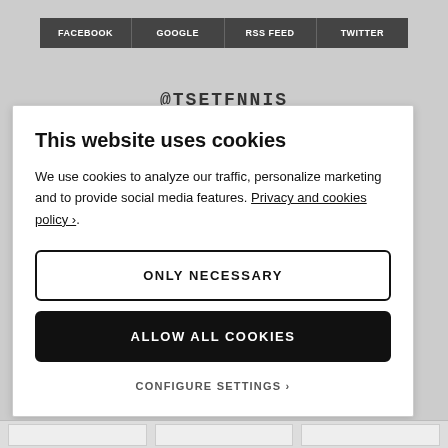[Figure (screenshot): Social media navigation buttons: FACEBOOK, GOOGLE, RSS FEED, TWITTER on dark grey background]
@TSETFNNIS
This website uses cookies
We use cookies to analyze our traffic, personalize marketing and to provide social media features. Privacy and cookies policy ›.
ONLY NECESSARY
ALLOW ALL COOKIES
CONFIGURE SETTINGS ›